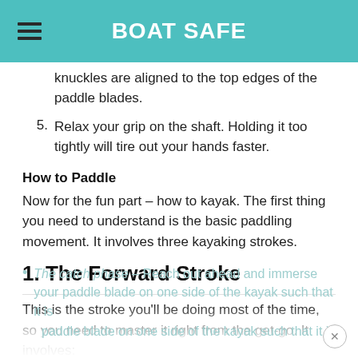BOAT SAFE
knuckles are aligned to the top edges of the paddle blades.
5. Relax your grip on the shaft. Holding it too tightly will tire out your hands faster.
How to Paddle
Now for the fun part – how to kayak. The first thing you need to understand is the basic paddling movement. It involves three kayaking strokes.
1. The Forward Stroke
This is the stroke you'll be doing most of the time, so you need to master it right from the get-go. It involves:
The catch phase – Reach out ahead and immerse your paddle blade on one side of the kayak such that it is